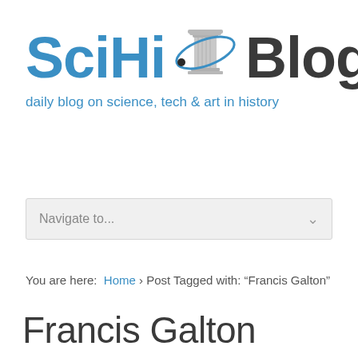[Figure (logo): SciHi Blog logo with column icon and orbital ring, tagline: daily blog on science, tech & art in history]
Navigate to...
You are here: Home › Post Tagged with: "Francis Galton"
Francis Galton